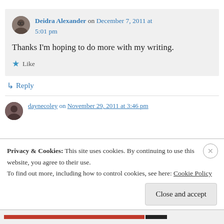Deidra Alexander on December 7, 2011 at 5:01 pm
Thanks I'm hoping to do more with my writing.
★ Like
↳ Reply
daynecoley on November 29, 2011 at 3:46 pm
Privacy & Cookies: This site uses cookies. By continuing to use this website, you agree to their use. To find out more, including how to control cookies, see here: Cookie Policy
Close and accept